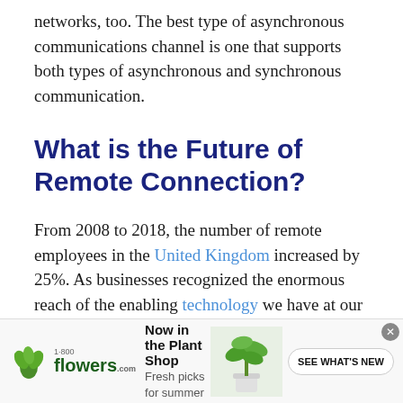networks, too. The best type of asynchronous communications channel is one that supports both types of asynchronous and synchronous communication.
What is the Future of Remote Connection?
From 2008 to 2018, the number of remote employees in the United Kingdom increased by 25%. As businesses recognized the enormous reach of the enabling technology we have at our fingertips, these figures were reflected in
[Figure (other): Advertisement banner for 1-800-flowers.com Plant Shop featuring logo, headline 'Now in the Plant Shop', subtext 'Fresh picks for summer', a photo of a potted plant, and a 'SEE WHAT'S NEW' call-to-action button]